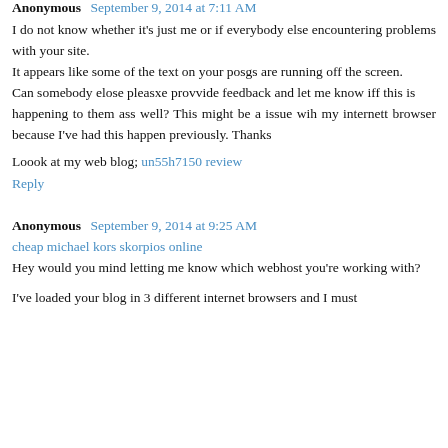Anonymous September 9, 2014 at 7:11 AM
I do not know whether it's just me or if everybody else encountering problems with your site.
It appears like some of the text on your posgs are running off the screen.
Can somebody elose pleasxe provvide feedback and let me know iff this is
happening to them ass well? This might be a issue wih my internett browser because I've had this happen previously. Thanks
Loook at my web blog; un55h7150 review
Reply
Anonymous September 9, 2014 at 9:25 AM
cheap michael kors skorpios online
Hey would you mind letting me know which webhost you're working with?
I've loaded your blog in 3 different internet browsers and I must